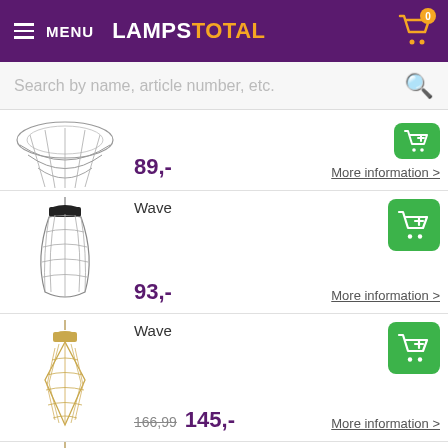MENU  LAMPSTOTAL  Cart 0
Search by name, article number, etc.
[Figure (photo): Wire mesh bowl/pendant lamp shade, grey, partially cropped at top]
89,-
More information >
Wave
[Figure (photo): Wire mesh pendant lamp, black top cap, tapered shape, grey wires]
93,-
More information >
Wave
[Figure (photo): Wire mesh pendant lamp, gold/brass cap and wires, tapered diamond shape]
166,99  145,-
More information >
Wave
[Figure (photo): Wire mesh pendant lamp, gold/brass, partially cropped at bottom]